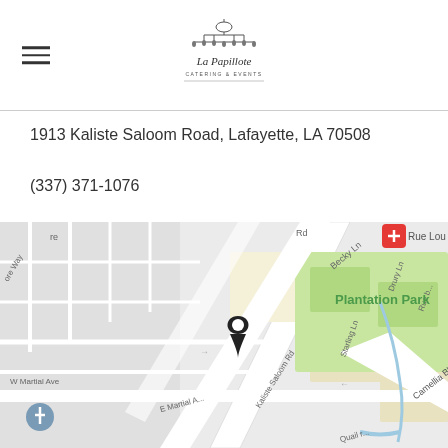[Figure (logo): La Papillote logo — decorative chandelier illustration with cursive text below]
1913 Kaliste Saloom Road, Lafayette, LA 70508
(337) 371-1076
[Figure (map): Google Maps screenshot showing the location at 1913 Kaliste Saloom Road, Lafayette, LA 70508. Map shows Kaliste Saloom Rd, Camellia Blvd, W Martial Ave, E Martial Ave, Becky Ln, Starling Ln, Drury Ln. Plantation Park is labeled in green to the right. A red location pin icon appears at top right. A black map marker pin marks the venue location in the center of the map. A church icon appears at bottom left.]